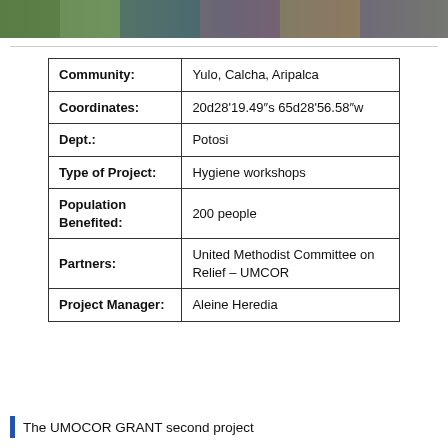[Figure (photo): Group photo of people, cropped at top of page as a banner strip]
| Community: | Yulo, Calcha, Aripalca |
| Coordinates: | 20d28'19.49"s 65d28'56.58"w |
| Dept.: | Potosi |
| Type of Project: | Hygiene workshops |
| Population Benefited: | 200 people |
| Partners: | United Methodist Committee on Relief – UMCOR |
| Project Manager: | Aleine Heredia |
The UMOCOR GRANT second project